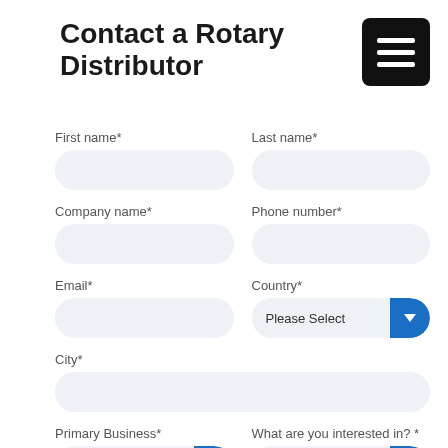Contact a Rotary Distributor
First name*
Last name*
Company name*
Phone number*
Email*
Country*
City*
Primary Business*
What are you interested in? *